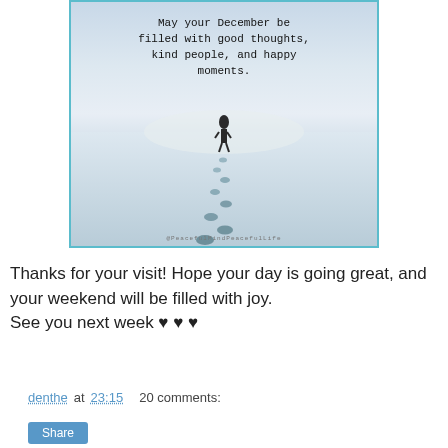[Figure (photo): Inspirational image showing a person walking away across a snowy landscape leaving footprints, with motivational text overlay and @PeacefulMindPeacefulLife watermark]
Thanks for your visit! Hope your day is going great, and your weekend will be filled with joy.
See you next week ♥ ♥ ♥
denthe at 23:15    20 comments: